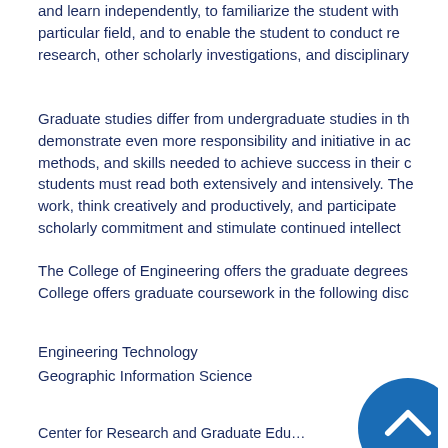and learn independently, to familiarize the student with a particular field, and to enable the student to conduct research, other scholarly investigations, and disciplinary…
Graduate studies differ from undergraduate studies in that they demonstrate even more responsibility and initiative in acquiring methods, and skills needed to achieve success in their chosen field. Students must read both extensively and intensively. They must work, think creatively and productively, and participate in scholarly commitment and stimulate continued intellectual…
The College of Engineering offers the graduate degrees… College offers graduate coursework in the following disciplines…
Engineering Technology
Geographic Information Science
Center for Research and Graduate Edu…